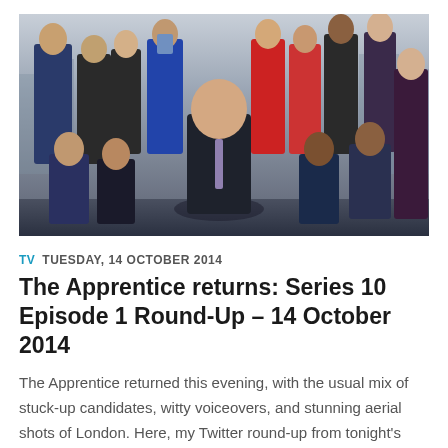[Figure (photo): Group promotional photo for The Apprentice TV show featuring Lord Alan Sugar and approximately 18 candidates posed together against a city skyline backdrop]
TV  TUESDAY, 14 OCTOBER 2014
The Apprentice returns: Series 10 Episode 1 Round-Up – 14 October 2014
The Apprentice returned this evening, with the usual mix of stuck-up candidates, witty voiceovers, and stunning aerial shots of London. Here, my Twitter round-up from tonight's episode.